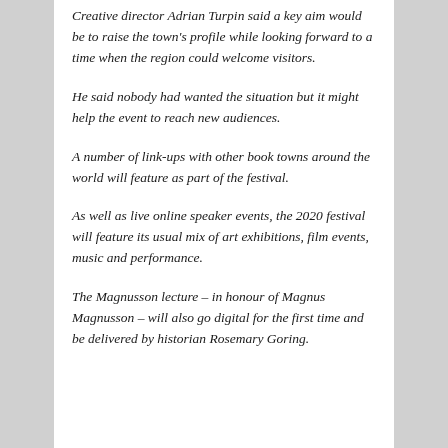Creative director Adrian Turpin said a key aim would be to raise the town's profile while looking forward to a time when the region could welcome visitors.
He said nobody had wanted the situation but it might help the event to reach new audiences.
A number of link-ups with other book towns around the world will feature as part of the festival.
As well as live online speaker events, the 2020 festival will feature its usual mix of art exhibitions, film events, music and performance.
The Magnusson lecture – in honour of Magnus Magnusson – will also go digital for the first time and be delivered by historian Rosemary Goring.